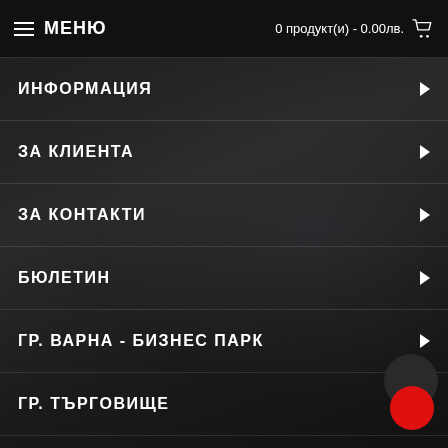МЕНЮ   0 продукт(и) - 0.00лв.
ИНФОРМАЦИЯ
ЗА КЛИЕНТА
ЗА КОНТАКТИ
БЮЛЕТИН
ГР. ВАРНА - БИЗНЕС ПАРК
ГР. ТЪРГОВИЩЕ
ГР. ДОБРИЧ
ГР. АЙТОС